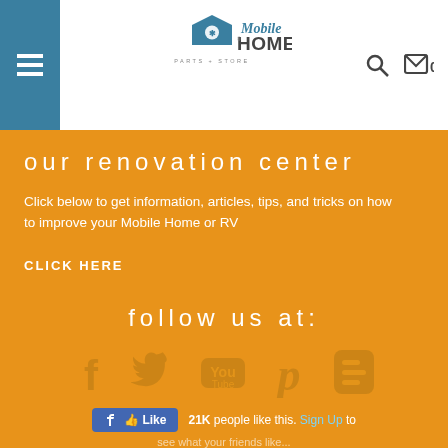[Figure (logo): Mobile Home Parts Store logo with house icon and text]
our renovation center
Click below to get information, articles, tips, and tricks on how to improve your Mobile Home or RV
CLICK HERE
follow us at:
[Figure (infographic): Social media icons: Facebook, Twitter, YouTube, Pinterest, Blogger]
[Figure (infographic): Facebook Like button showing 21K people like this. Sign Up to see what your friends like.]
[Figure (infographic): Payment method cards: AMEX, Discover, VISA, Mastercard, Layaway, TrustedSite certified secure badge]